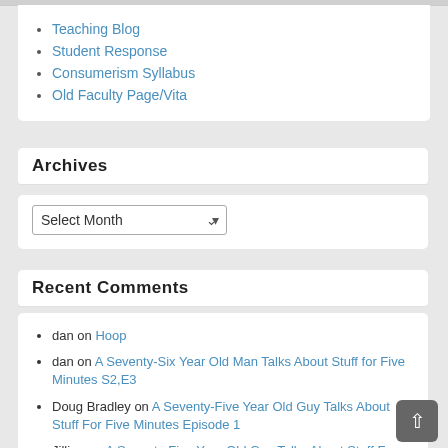Teaching Blog
Student Response
Consumerism Syllabus
Old Faculty Page/Vita
Archives
Select Month (dropdown)
Recent Comments
dan on Hoop
dan on A Seventy-Six Year Old Man Talks About Stuff for Five Minutes S2,E3
Doug Bradley on A Seventy-Five Year Old Guy Talks About Stuff For Five Minutes Episode 1
Jillian on A Seventy-Five Year Old Guy Talks About Stuff For Five Minutes Episode 3
Carol M. Press on A Seventy-Five Year Old Guy Talks About Stuff